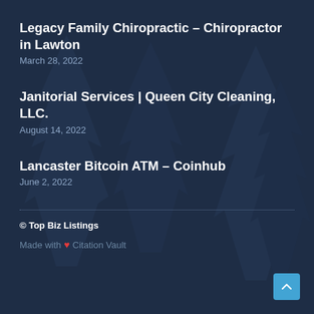Legacy Family Chiropractic – Chiropractor in Lawton
March 28, 2022
Janitorial Services | Queen City Cleaning, LLC.
August 14, 2022
Lancaster Bitcoin ATM – Coinhub
June 2, 2022
© Top Biz Listings
Made with ❤ Citation Vault